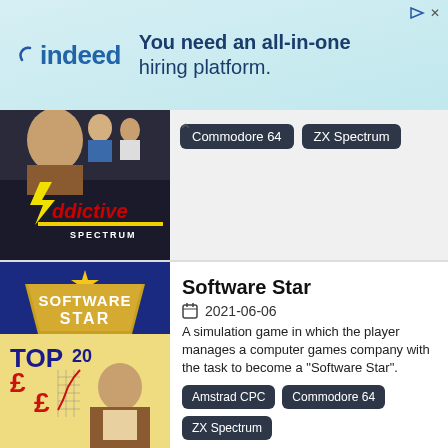[Figure (other): Indeed advertisement banner: 'You need an all-in-one hiring platform.']
[Figure (photo): Game cover image for Addictive Spectrum game showing sports players and the Addictive logo]
Commodore 64   ZX Spectrum
[Figure (photo): Game cover image for Software Star showing the Software Star logo, TOP 20, currency symbols and a man in a brown jacket]
Software Star
2021-06-06
A simulation game in which the player manages a computer games company with the task to become a "Software Star".
Amstrad CPC   Commodore 64   ZX Spectrum